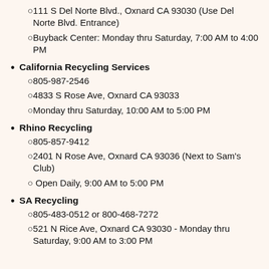111 S Del Norte Blvd., Oxnard CA 93030 (Use Del Norte Blvd. Entrance)
Buyback Center: Monday thru Saturday, 7:00 AM to 4:00 PM
California Recycling Services
805-987-2546
4833 S Rose Ave, Oxnard CA 93033
Monday thru Saturday, 10:00 AM to 5:00 PM
Rhino Recycling
805-857-9412
2401 N Rose Ave, Oxnard CA 93036 (Next to Sam's Club)
Open Daily, 9:00 AM to 5:00 PM
SA Recycling
805-483-0512 or 800-468-7272
521 N Rice Ave, Oxnard CA 93030 - Monday thru Saturday, 9:00 AM to 3:00 PM